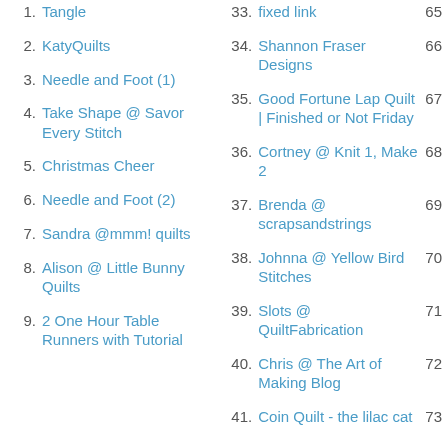1. Tangle
2. KatyQuilts
3. Needle and Foot (1)
4. Take Shape @ Savor Every Stitch
5. Christmas Cheer
6. Needle and Foot (2)
7. Sandra @mmm! quilts
8. Alison @ Little Bunny Quilts
9. 2 One Hour Table Runners with Tutorial
33. fixed link 65
34. Shannon Fraser Designs 66
35. Good Fortune Lap Quilt | Finished or Not Friday 67
36. Cortney @ Knit 1, Make 2 68
37. Brenda @ scrapsandstrings 69
38. Johnna @ Yellow Bird Stitches 70
39. Slots @ QuiltFabrication 71
40. Chris @ The Art of Making Blog 72
41. Coin Quilt - the lilac cat 73